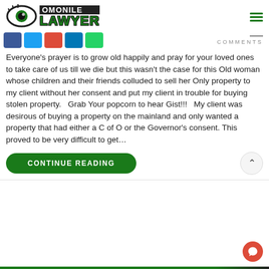[Figure (logo): Omonile Lawyer logo with eye icon, green text on white background]
[Figure (infographic): Social media share icons: Facebook, Twitter, Google+, LinkedIn, WhatsApp; and COMMENTS label on the right]
Everyone’s prayer is to grow old happily and pray for your loved ones to take care of us till we die but this wasn’t the case for this Old woman whose children and their friends colluded to sell her Only property to my client without her consent and put my client in trouble for buying stolen property.   Grab Your popcorn to hear Gist!!!   My client was desirous of buying a property on the mainland and only wanted a property that had either a C of O or the Governor’s consent. This proved to be very difficult to get...
[Figure (other): CONTINUE READING green button and up-arrow circle button]